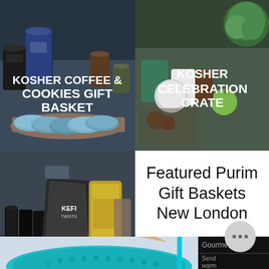[Figure (photo): Kosher Coffee & Cookies Gift Basket photo showing blue cookies on a wooden board with coffee jars in background]
[Figure (photo): Kosher Celebration Crate photo showing various green and natural products, jars, and produce]
[Figure (photo): Kosher Beer & Snacks Basket photo showing beer cans, bags of snacks and pretzel products]
Featured Purim Gift Baskets New London
[Figure (photo): Purim celebration items including a decorative teal sequin mask, hamantaschen pastry, and a chat bubble with ellipsis icon. Partial dark panel with text 'Gourmet' and 'Send warm regards wish you one']